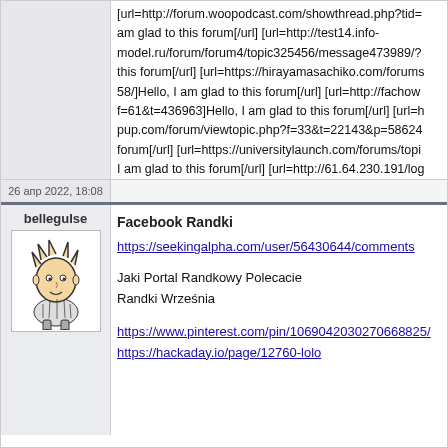[url=http://forum.woopodcast.com/showthread.php?tid= am glad to this forum[/url] [url=http://test14.info-model.ru/forum/forum4/topic325456/message473989/? this forum[/url] [url=https://hirayamasachiko.com/forums 58/]Hello, I am glad to this forum[/url] [url=http://fachow f=61&t=436963]Hello, I am glad to this forum[/url] [url=h pup.com/forum/viewtopic.php?f=33&t=22143&p=58624 forum[/url] [url=https://universitylaunch.com/forums/topi I am glad to this forum[/url] [url=http://61.64.230.191/log this forum[/url] [url=https://www.nordic0x539s.org/show this forum[/url] [url=http://therapsex.com/forums/topic/h am glad to this forum[/url] [url=http://myxtours.de/link_f forum[/url] 94b765f
26 апр 2022, 18:08
belleguIse
[Figure (illustration): Avatar image of a cartoon boy character (Calvin-style illustration) in black and white]
Facebook Randki
https://seekingalpha.com/user/56430644/comments
Jaki Portal Randkowy Polecacie
Randki Września
https://www.pinterest.com/pin/1069042030270668825/
https://hackaday.io/page/12760-lolo